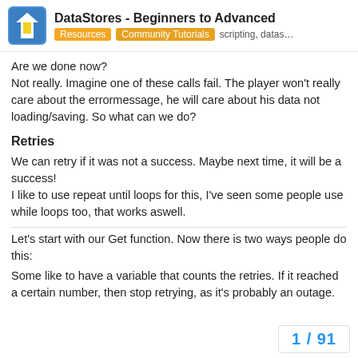DataStores - Beginners to Advanced | Resources | Community Tutorials | scripting, datas...
Are we done now? Not really. Imagine one of these calls fail. The player won't really care about the errormessage, he will care about his data not loading/saving. So what can we do?
Retries
We can retry if it was not a success. Maybe next time, it will be a success! I like to use repeat until loops for this, I've seen some people use while loops too, that works aswell.
Let's start with our Get function. Now there is two ways people do this:
Some like to have a variable that counts the retries. If it reached a certain number, then stop retrying, as it's probably an outage.
1 / 91